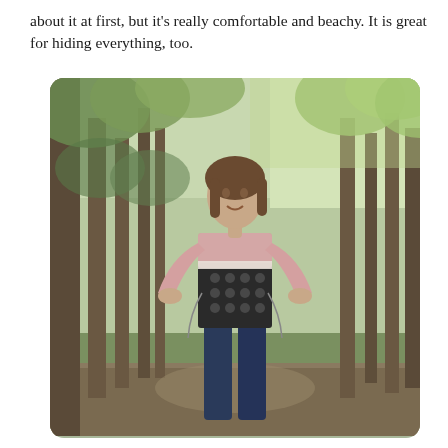about it at first, but it's really comfortable and beachy. It is great for hiding everything, too.
[Figure (photo): A young woman with shoulder-length brown hair, smiling with hands on hips, wearing a patterned black-and-white top with pink lace sleeves, standing outdoors in a wooded area with trees and green foliage in the background.]